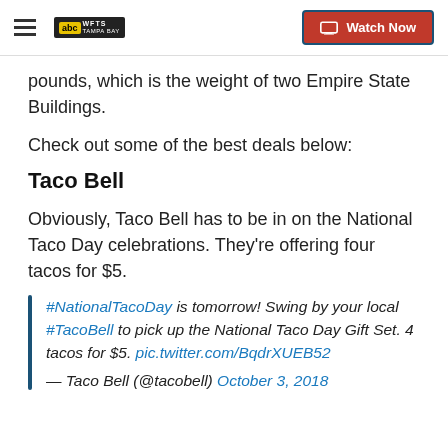ABC WFTS Tampa Bay | Watch Now
pounds, which is the weight of two Empire State Buildings.
Check out some of the best deals below:
Taco Bell
Obviously, Taco Bell has to be in on the National Taco Day celebrations. They're offering four tacos for $5.
#NationalTacoDay is tomorrow! Swing by your local #TacoBell to pick up the National Taco Day Gift Set. 4 tacos for $5. pic.twitter.com/BqdrXUEB52
— Taco Bell (@tacobell) October 3, 2018